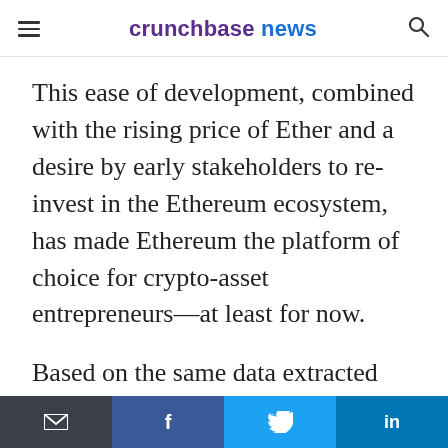crunchbase news
This ease of development, combined with the rising price of Ether and a desire by early stakeholders to re-invest in the Ethereum ecosystem, has made Ethereum the platform of choice for crypto-asset entrepreneurs—at least for now.
Based on the same data extracted from TokenMarket we looked at earlier, we charted the proportional